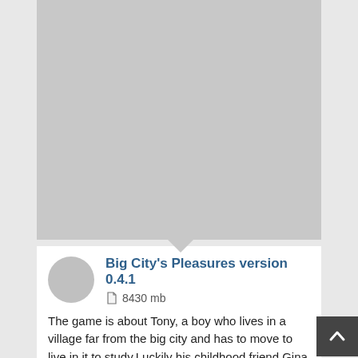[Figure (photo): Large grey placeholder image area at the top of a game listing card]
Big City's Pleasures version 0.4.1
8430 mb
The game is about Tony, a boy who lives in a village far from the big city and has to move to live in it to study.Luckily his childhood friend Gina allows he to live in a room at...